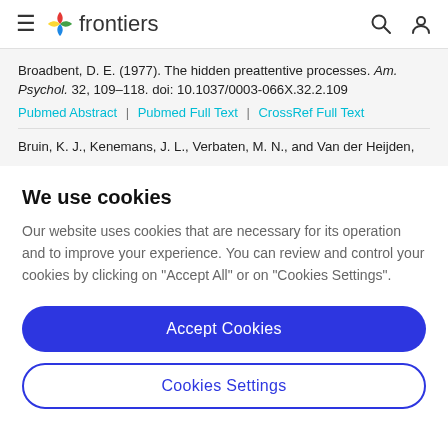frontiers
Broadbent, D. E. (1977). The hidden preattentive processes. Am. Psychol. 32, 109–118. doi: 10.1037/0003-066X.32.2.109
Pubmed Abstract | Pubmed Full Text | CrossRef Full Text
Bruin, K. J., Kenemans, J. L., Verbaten, M. N., and Van der Heijden,
We use cookies
Our website uses cookies that are necessary for its operation and to improve your experience. You can review and control your cookies by clicking on "Accept All" or on "Cookies Settings".
Accept Cookies
Cookies Settings